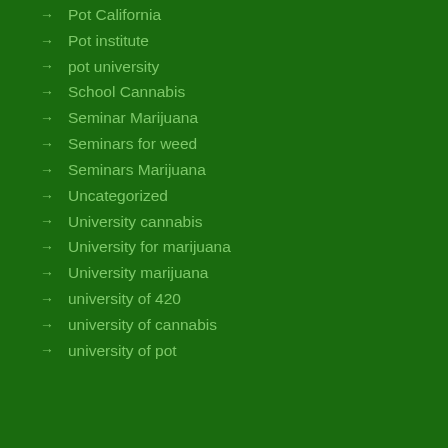Pot California
Pot institute
pot university
School Cannabis
Seminar Marijuana
Seminars for weed
Seminars Marijuana
Uncategorized
University cannabis
University for marijuana
University marijuana
university of 420
university of cannabis
university of pot